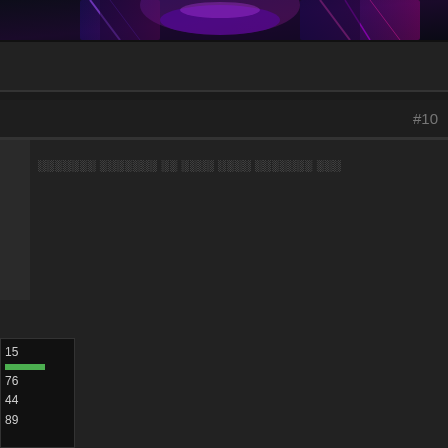[Figure (illustration): Top banner with colorful abstract/neon graphic — purple, pink, and blue light streaks on dark background]
#10
░░░░░░░ ░░░░░░░ ░░ ░░░░ ░░░░ ░░░░░░░ ░░░
15
76
44
89